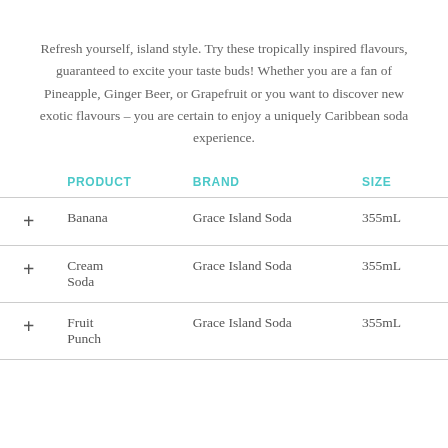Refresh yourself, island style. Try these tropically inspired flavours, guaranteed to excite your taste buds! Whether you are a fan of Pineapple, Ginger Beer, or Grapefruit or you want to discover new exotic flavours – you are certain to enjoy a uniquely Caribbean soda experience.
|  | PRODUCT | BRAND | SIZE |
| --- | --- | --- | --- |
| + | Banana | Grace Island Soda | 355mL |
| + | Cream Soda | Grace Island Soda | 355mL |
| + | Fruit Punch | Grace Island Soda | 355mL |